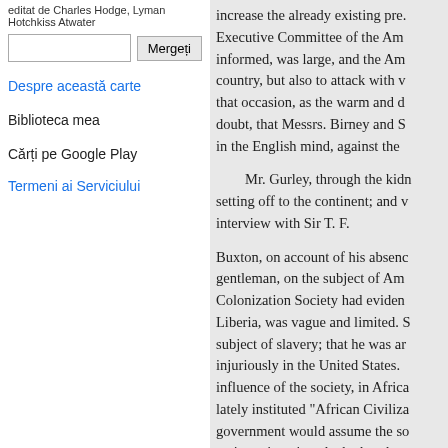editat de Charles Hodge, Lyman Hotchkiss Atwater
Mergeți
Despre această carte
Biblioteca mea
Cărți pe Google Play
Termeni ai Serviciului
increase the already existing pre. Executive Committee of the Am informed, was large, and the Am country, but also to attack with v that occasion, as the warm and d doubt, that Messrs. Birney and S in the English mind, against the
Mr. Gurley, through the kidn setting off to the continent; and v interview with Sir T. F.
Buxton, on account of his absenc gentleman, on the subject of Am Colonization Society had eviden Liberia, was vague and limited. S subject of slavery; that he was ar injuriously in the United States. influence of the society, in Africa lately instituted "African Civiliza government would assume the so native princes'; and whether they Christianity in Africa. To all thes British ministry had been consul